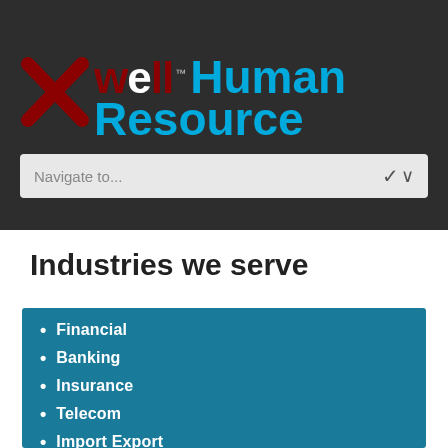[Figure (logo): Xwell Human Resource logo on dark background header with navigation bar]
Industries we serve
Financial
Banking
Insurance
Telecom
Import Export
Chemical Industry
Hotels